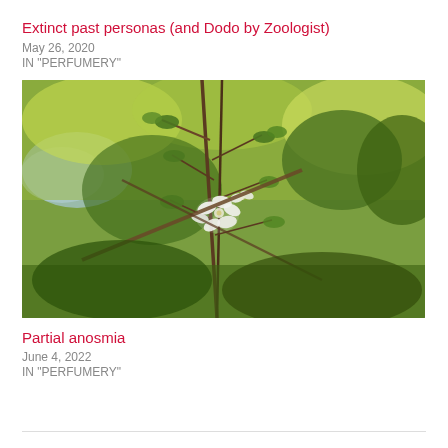Extinct past personas (and Dodo by Zoologist)
May 26, 2020
IN "PERFUMERY"
[Figure (photo): A close-up photo of a plant with white flowers and thin branches, set against a blurred green garden background with trees and a hint of water/pond on the left side.]
Partial anosmia
June 4, 2022
IN "PERFUMERY"